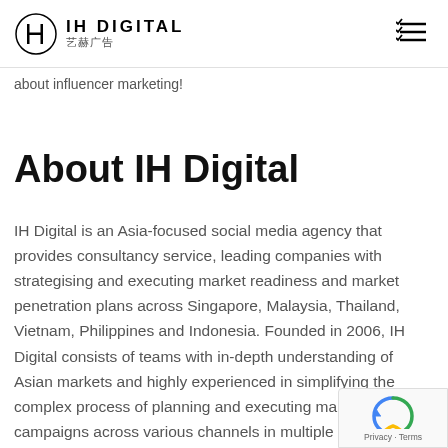IH DIGITAL 艺赫广告
about influencer marketing!
About IH Digital
IH Digital is an Asia-focused social media agency that provides consultancy service, leading companies with strategising and executing market readiness and market penetration plans across Singapore, Malaysia, Thailand, Vietnam, Philippines and Indonesia. Founded in 2006, IH Digital consists of teams with in-depth understanding of Asian markets and highly experienced in simplifying the complex process of planning and executing marketing campaigns across various channels in multiple languages.